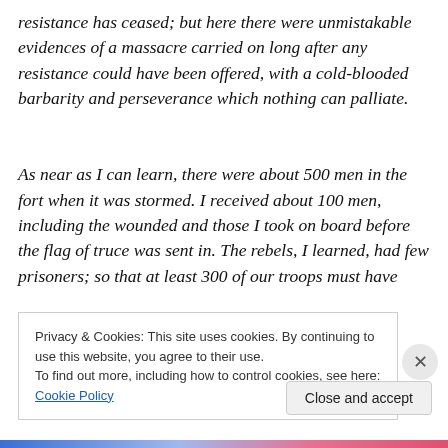resistance has ceased; but here there were unmistakable evidences of a massacre carried on long after any resistance could have been offered, with a cold-blooded barbarity and perseverance which nothing can palliate.

As near as I can learn, there were about 500 men in the fort when it was stormed. I received about 100 men, including the wounded and those I took on board before the flag of truce was sent in. The rebels, I learned, had few prisoners; so that at least 300 of our troops must have
Privacy & Cookies: This site uses cookies. By continuing to use this website, you agree to their use.
To find out more, including how to control cookies, see here: Cookie Policy